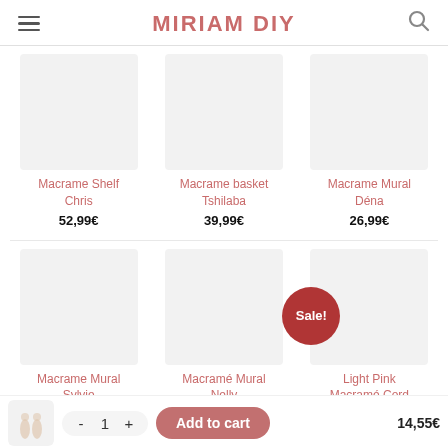MIRIAM DIY
Macrame Shelf Chris — 52,99€
Macrame basket Tshilaba — 39,99€
Macrame Mural Déna — 26,99€
Macrame Mural Sylvie — 15,99€
Macramé Mural Nelly — 22,99€
Light Pink Macramé Cord 5mm for 100m — 14,55€
Add to cart — 1 item — 14,55€